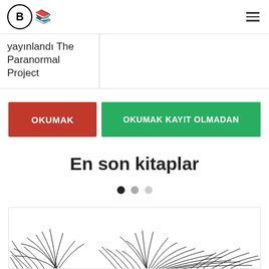B [logo with books icon] | hamburger menu
yayınlandı The Paranormal Project
OKUMAK
OKUMAK KAYIT OLMADAN
En son kitaplar
[Figure (other): Carousel pagination dots: three dots, first filled black, second medium grey, third light grey]
[Figure (illustration): Black and white illustration of plants/ferns at the bottom of the page]